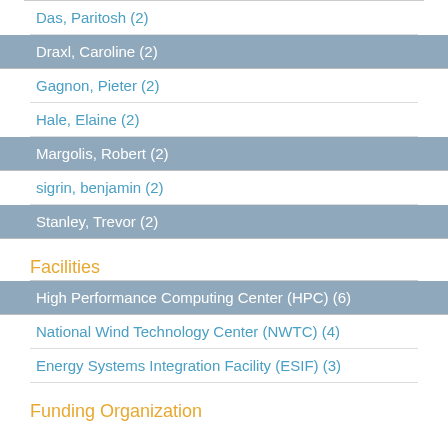Das, Paritosh (2)
Draxl, Caroline (2)
Gagnon, Pieter (2)
Hale, Elaine (2)
Margolis, Robert (2)
sigrin, benjamin (2)
Stanley, Trevor (2)
Facilities
High Performance Computing Center (HPC) (6)
National Wind Technology Center (NWTC) (4)
Energy Systems Integration Facility (ESIF) (3)
Funding Organization